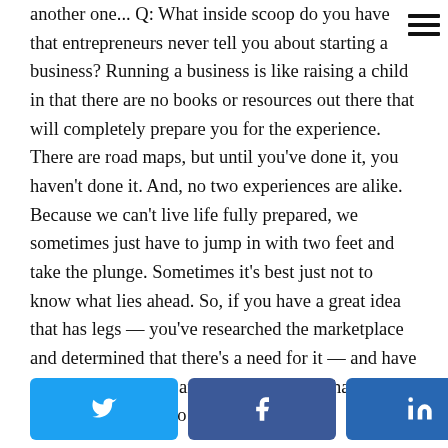another one... Q: What inside scoop do you have that entrepreneurs never tell you about starting a business? Running a business is like raising a child in that there are no books or resources out there that will completely prepare you for the experience. There are road maps, but until you've done it, you haven't done it. And, no two experiences are alike. Because we can't live life fully prepared, we sometimes just have to jump in with two feet and take the plunge. Sometimes it's best just not to know what lies ahead. So, if you have a great idea that has legs — you've researched the marketplace and determined that there's a need for it — and have the resources, drive and courage to turn that idea into a reality, then go for it!
[Figure (infographic): Social sharing bar with Twitter, Facebook, LinkedIn buttons and a share count showing 0 SHARES]